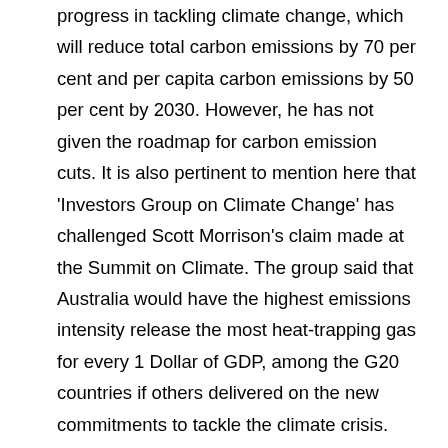progress in tackling climate change, which will reduce total carbon emissions by 70 per cent and per capita carbon emissions by 50 per cent by 2030. However, he has not given the roadmap for carbon emission cuts. It is also pertinent to mention here that 'Investors Group on Climate Change' has challenged Scott Morrison's claim made at the Summit on Climate. The group said that Australia would have the highest emissions intensity release the most heat-trapping gas for every 1 Dollar of GDP, among the G20 countries if others delivered on the new commitments to tackle the climate crisis. Besides, Australia's carbon emission reduction targets by 2030 are only 26-28 per cent from the 2005 emission levels. This target is much lower as compared to many other countries and the base year is 2005.
The promises and plans of Great Britain, the European countries, the United States and Canada are commendable. Great Britain and the European countries are expected to